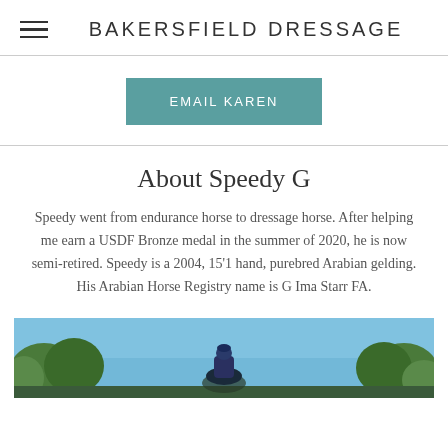BAKERSFIELD DRESSAGE
EMAIL KAREN
About Speedy G
Speedy went from endurance horse to dressage horse. After helping me earn a USDF Bronze medal in the summer of 2020, he is now semi-retired. Speedy is a 2004, 15'1 hand, purebred Arabian gelding. His Arabian Horse Registry name is G Ima Starr FA.
[Figure (photo): A rider on horseback in a dressage outfit with a blue helmet, surrounded by green trees and a blue sky background.]